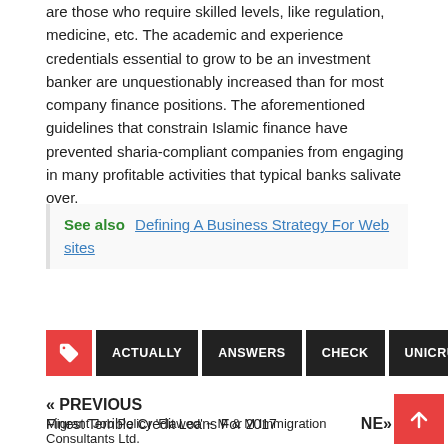are those who require skilled levels, like regulation, medicine, etc. The academic and experience credentials essential to grow to be an investment banker are unquestionably increased than for most company finance positions. The aforementioned guidelines that constrain Islamic finance have prevented sharia-compliant companies from engaging in many profitable activities that typical banks salivate over.
See also  Defining A Business Strategy For Web sites
ACTUALLY
ANSWERS
CHECK
UNICRU
« PREVIOUS
Finest Terrible Credit Loans For 2017
NEXT »
Migrant Job Policy 'Flawed' ~ M & M Immigration Consultants Ltd.